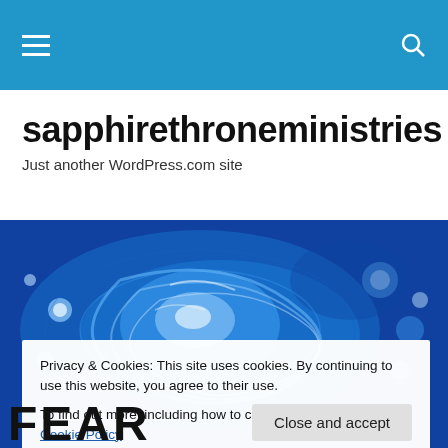Navigation bar with hamburger menu and search icon
sapphirethroneministries
Just another WordPress.com site
[Figure (photo): Blue swirling water ripples abstract background image]
Privacy & Cookies: This site uses cookies. By continuing to use this website, you agree to their use.
To find out more, including how to control cookies, see here: Cookie Policy
Close and accept
FEAR